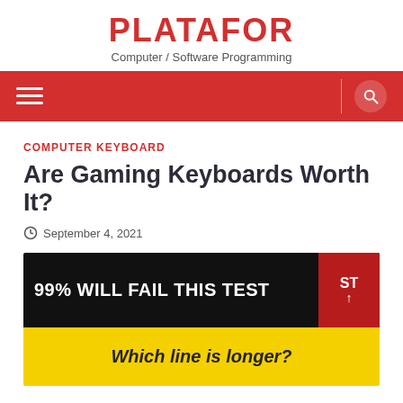PLATAFOR
Computer / Software Programming
[Figure (screenshot): Red navigation bar with hamburger menu icon on left and search icon on right]
COMPUTER KEYBOARD
Are Gaming Keyboards Worth It?
September 4, 2021
[Figure (photo): Featured image with black top half showing '99% WILL FAIL THIS TEST' in white bold text and a red badge with 'ST' and up arrow, and yellow bottom half showing 'Which line is longer?' in dark italic text]